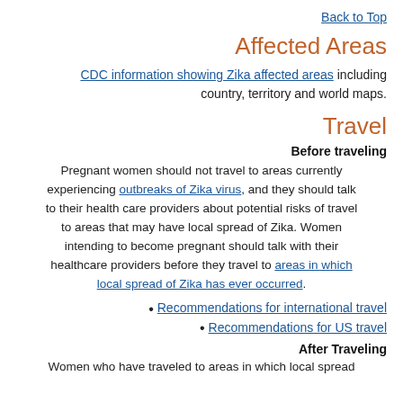Back to Top
Affected Areas
CDC information showing Zika affected areas including country, territory and world maps.
Travel
Before traveling
Pregnant women should not travel to areas currently experiencing outbreaks of Zika virus, and they should talk to their health care providers about potential risks of travel to areas that may have local spread of Zika. Women intending to become pregnant should talk with their healthcare providers before they travel to areas in which local spread of Zika has ever occurred.
Recommendations for international travel
Recommendations for US travel
After Traveling
Women who have traveled to areas in which local spread